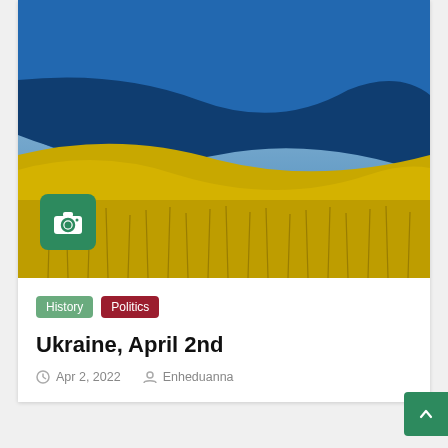[Figure (photo): Ukrainian flag (blue and yellow) waving over a field of golden wheat with cloudy sky background. Camera icon badge in bottom-left corner.]
History
Politics
Ukraine, April 2nd
Apr 2, 2022   Enheduanna